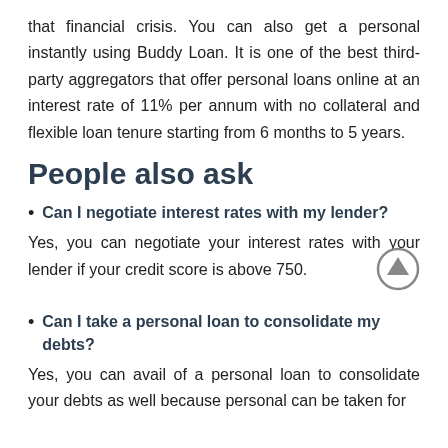that financial crisis. You can also get a personal instantly using Buddy Loan. It is one of the best third-party aggregators that offer personal loans online at an interest rate of 11% per annum with no collateral and flexible loan tenure starting from 6 months to 5 years.
People also ask
Can I negotiate interest rates with my lender?
Yes, you can negotiate your interest rates with your lender if your credit score is above 750.
Can I take a personal loan to consolidate my debts?
Yes, you can avail of a personal loan to consolidate your debts as well because personal can be taken for